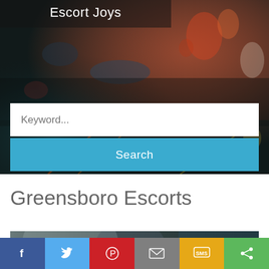[Figure (screenshot): Hero banner with blurred city night street background]
Escort Joys
Keyword...
Search
Greensboro Escorts
[Figure (photo): Partial photo of a person, cropped at bottom of page]
[Figure (infographic): Social share bar with Facebook, Twitter, Pinterest, Email, SMS, and Share buttons]